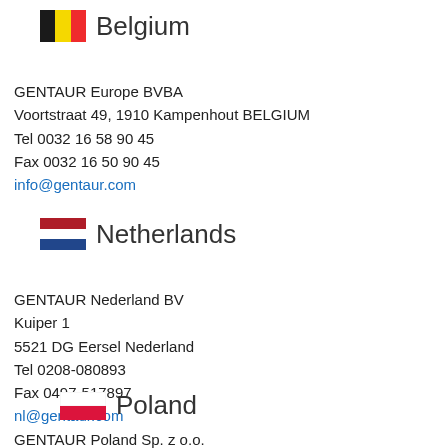Belgium
GENTAUR Europe BVBA
Voortstraat 49, 1910 Kampenhout BELGIUM
Tel 0032 16 58 90 45
Fax 0032 16 50 90 45
info@gentaur.com
Netherlands
GENTAUR Nederland BV
Kuiper 1
5521 DG Eersel Nederland
Tel 0208-080893
Fax 0497-517897
nl@gentaur.com
Poland
GENTAUR Poland Sp. z o.o.
ul. Grunwaldzka 88/A m.2